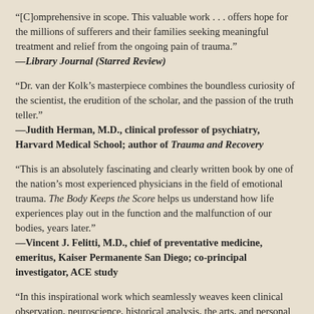“[C]omprehensive in scope. This valuable work . . . offers hope for the millions of sufferers and their families seeking meaningful treatment and relief from the ongoing pain of trauma.”
—Library Journal (Starred Review)
“Dr. van der Kolk’s masterpiece combines the boundless curiosity of the scientist, the erudition of the scholar, and the passion of the truth teller.”
—Judith Herman, M.D., clinical professor of psychiatry, Harvard Medical School; author of Trauma and Recovery
“This is an absolutely fascinating and clearly written book by one of the nation’s most experienced physicians in the field of emotional trauma. The Body Keeps the Score helps us understand how life experiences play out in the function and the malfunction of our bodies, years later.”
—Vincent J. Felitti, M.D., chief of preventative medicine, emeritus, Kaiser Permanente San Diego; co-principal investigator, ACE study
“In this inspirational work which seamlessly weaves keen clinical observation, neuroscience, historical analysis, the arts, and personal narrative, Dr. van der Kolk has created an authoritative guide to the effects of trauma, and pathways to recovery. The book is full of wisdom, humanity, compassion and scientific insight, gleaned from a lifetime of clinical service, research and scholarship in the field of traumatic stress. A must read for mental health and other health care professionals, trauma survivors, their loved ones, and those who seek clinical, social, or political